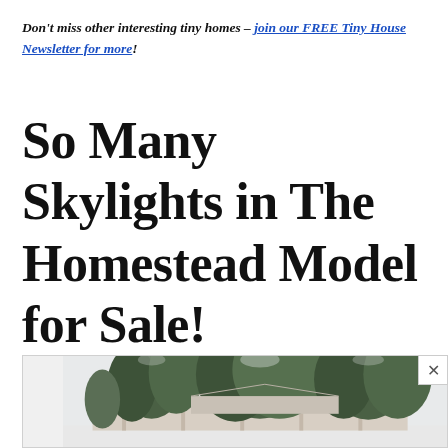Don't miss other interesting tiny homes – join our FREE Tiny House Newsletter for more!
So Many Skylights in The Homestead Model for Sale!
[Figure (photo): Exterior photo of a tiny home (Homestead Model) surrounded by evergreen trees in a snowy or wintry setting, with a light-colored fence or wall structure visible.]